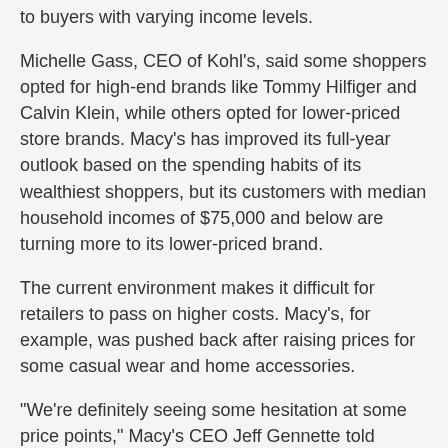to buyers with varying income levels.
Michelle Gass, CEO of Kohl's, said some shoppers opted for high-end brands like Tommy Hilfiger and Calvin Klein, while others opted for lower-priced store brands. Macy's has improved its full-year outlook based on the spending habits of its wealthiest shoppers, but its customers with median household incomes of $75,000 and below are turning more to its lower-priced brand.
The current environment makes it difficult for retailers to pass on higher costs. Macy's, for example, was pushed back after raising prices for some casual wear and home accessories.
“We’re definitely seeing some hesitation at some price points,” Macy’s CEO Jeff Gennette told analysts during the company’s earnings call recently. “We made adjustments there.”
For the Northern Illinois Food Bank — like many food banks — food costs are rising amid dwindling donations.